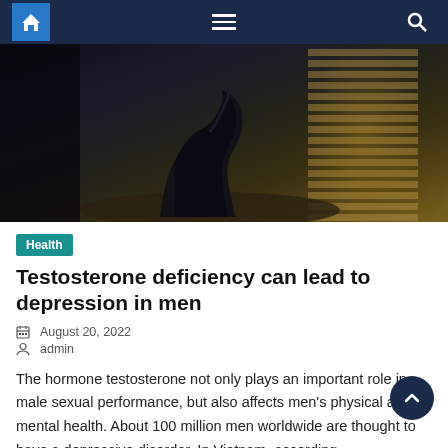Navigation bar with home, menu, and search icons
[Figure (photo): Dark moody photo of a person sitting on a bed hugging their knees, with window blinds in the background letting in warm light]
Health
Testosterone deficiency can lead to depression in men
August 20, 2022
admin
The hormone testosterone not only plays an important role in male sexual performance, but also affects men's physical and mental health. About 100 million men worldwide are thought to have a depressive disorder. In Vietnam, according